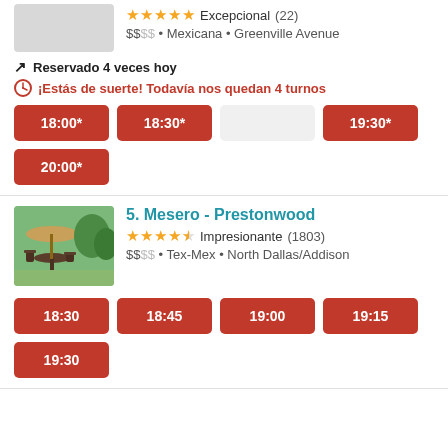[Figure (photo): Partial restaurant photo placeholder at top]
Excepcional (22)
$$•• • Mexicana • Greenville Avenue
Reservado 4 veces hoy
¡Estás de suerte! Todavía nos quedan 4 turnos
18:00*
18:30*
(unavailable)
19:30*
20:00*
5. Mesero - Prestonwood
Impresionante (1803)
$$•• • Tex-Mex • North Dallas/Addison
[Figure (photo): Restaurant outdoor seating area with green trees in background]
18:30
18:45
19:00
19:15
19:30